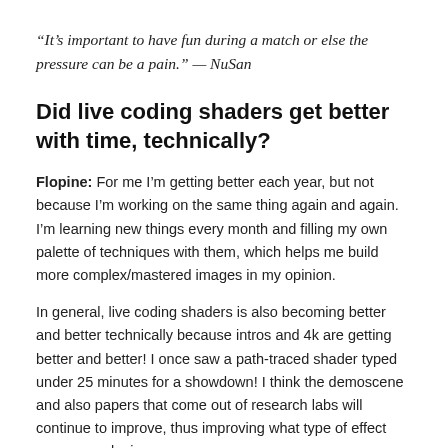“It’s important to have fun during a match or else the pressure can be a pain.” — NuSan
Did live coding shaders get better with time, technically?
Flopine: For me I’m getting better each year, but not because I’m working on the same thing again and again. I’m learning new things every month and filling my own palette of techniques with them, which helps me build more complex/mastered images in my opinion.
In general, live coding shaders is also becoming better and better technically because intros and 4k are getting better and better! I once saw a path-traced shader typed under 25 minutes for a showdown! I think the demoscene and also papers that come out of research labs will continue to improve, thus improving what type of effect you can make in